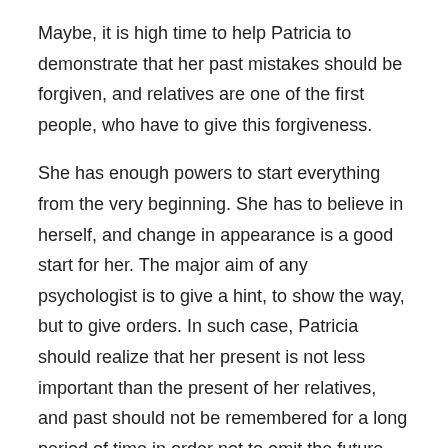Maybe, it is high time to help Patricia to demonstrate that her past mistakes should be forgiven, and relatives are one of the first people, who have to give this forgiveness.
She has enough powers to start everything from the very beginning. She has to believe in herself, and change in appearance is a good start for her. The major aim of any psychologist is to give a hint, to show the way, but to give orders. In such case, Patricia should realize that her present is not less important than the present of her relatives, and past should not be remembered for a long period of time in order not to omit the future.
We will write a custom Essay on Patricia and Her Family specifically for you! Get your first paper with 15% OFF Learn More In order to analyze the case of Patricia and her family, it is better to use several theoretical approaches simultaneously: behavioural, psychodynamic, and rational emotive theories. Such diversity